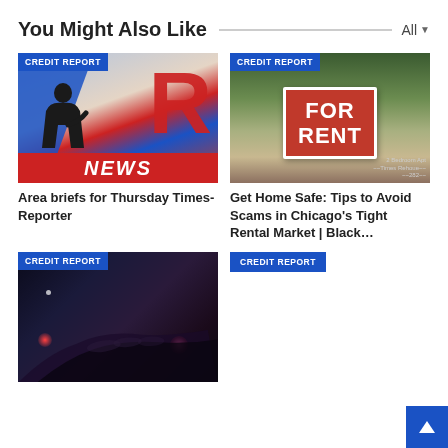You Might Also Like
[Figure (photo): News graphic with large red R letter, blue diagonal stripe, and silhouette figure. Bottom red banner reads NEWS.]
Area briefs for Thursday Times-Reporter
[Figure (photo): Photo of a red and white FOR RENT sign against an outdoor background with foliage.]
Get Home Safe: Tips to Avoid Scams in Chicago's Tight Rental Market | Black...
[Figure (photo): Dark close-up photo of a hand on a surface with pink and red light glows in the background.]
[Figure (other): CREDIT REPORT badge only, no image loaded.]